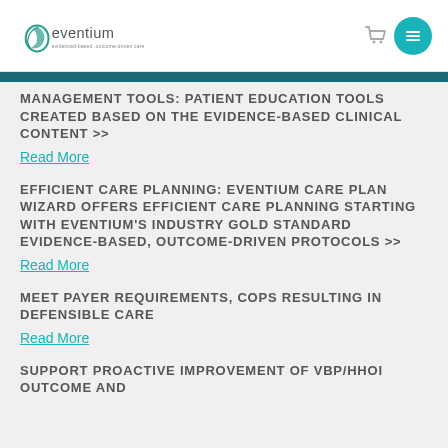eventium logo and navigation
MANAGEMENT TOOLS: PATIENT EDUCATION TOOLS CREATED BASED ON THE EVIDENCE-BASED CLINICAL CONTENT >>
Read More
EFFICIENT CARE PLANNING: EVENTIUM CARE PLAN WIZARD OFFERS EFFICIENT CARE PLANNING STARTING WITH EVENTIUM'S INDUSTRY GOLD STANDARD EVIDENCE-BASED, OUTCOME-DRIVEN PROTOCOLS >>
Read More
MEET PAYER REQUIREMENTS, COPS RESULTING IN DEFENSIBLE CARE
Read More
SUPPORT PROACTIVE IMPROVEMENT OF VBP/HHOI OUTCOME AND